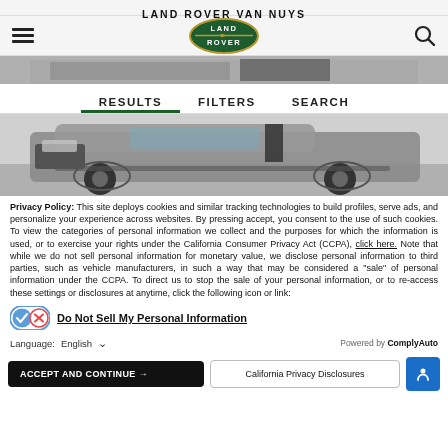LAND ROVER VAN NUYS
[Figure (screenshot): Navigation bar with hamburger menu, Land Rover oval logo, and search icon]
[Figure (photo): Partial top view of a silver Land Rover SUV]
RESULTS  FILTERS  SEARCH
[Figure (photo): Front three-quarter view of a silver Land Rover Range Rover SUV on a light background]
Privacy Policy: This site deploys cookies and similar tracking technologies to build profiles, serve ads, and personalize your experience across websites. By pressing accept, you consent to the use of such cookies. To view the categories of personal information we collect and the purposes for which the information is used, or to exercise your rights under the California Consumer Privacy Act (CCPA), click here. Note that while we do not sell personal information for monetary value, we disclose personal information to third parties, such as vehicle manufacturers, in such a way that may be considered a "sale" of personal information under the CCPA. To direct us to stop the sale of your personal information, or to re-access these settings or disclosures at anytime, click the following icon or link:
Do Not Sell My Personal Information
Language: English  Powered by ComplyAuto
ACCEPT AND CONTINUE →  California Privacy Disclosures